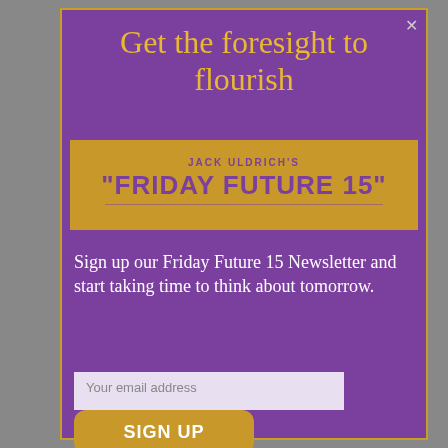[Figure (screenshot): A website popup/modal overlay on a purple navigation sidebar. The modal has a gold border on a purple background with title 'Get the foresight to flourish', a gold banner reading JACK ULDRICH'S "FRIDAY FUTURE 15"', a newsletter signup call-to-action, an email input field, and a SIGN UP button. Behind the modal, navigation menu items are visible in muted purple text.]
Get the foresight to flourish
JACK ULDRICH'S
"FRIDAY FUTURE 15"
Sign up our Friday Future 15 Newsletter and start taking time to think about tomorrow.
Your email address
SIGN UP